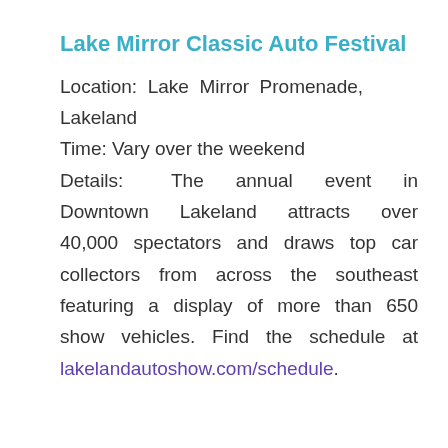Lake Mirror Classic Auto Festival
Location: Lake Mirror Promenade, Lakeland
Time: Vary over the weekend
Details: The annual event in Downtown Lakeland attracts over 40,000 spectators and draws top car collectors from across the southeast featuring a display of more than 650 show vehicles. Find the schedule at lakelandautoshow.com/schedule.